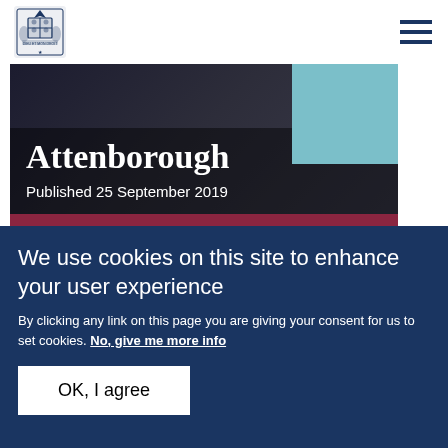Royal Crest logo and navigation hamburger menu
[Figure (photo): Partially visible article image with 'Attenborough' title text overlay and published date, with teal/light blue background on right side]
Attenborough
Published 25 September 2019
The Duke of Cambridge's Charities & Patronages
We use cookies on this site to enhance your user experience
By clicking any link on this page you are giving your consent for us to set cookies. No, give me more info
OK, I agree